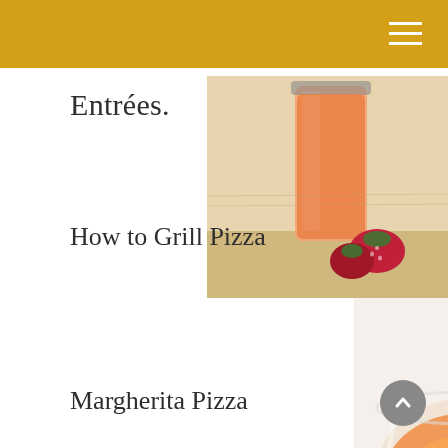Entrées.
[Figure (photo): A glass jar with an orange/pink drink, strawberries on a wooden surface with a cloth]
How to Grill Pizza
[Figure (photo): An orange cocktail in a martini-style glass with green herbs/garnish on a white background]
Margherita Pizza
[Figure (photo): A bowl of cream/pudding with spices, small cups of milk beside it]